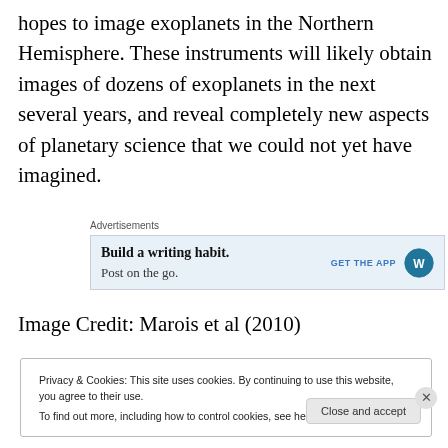hopes to image exoplanets in the Northern Hemisphere. These instruments will likely obtain images of dozens of exoplanets in the next several years, and reveal completely new aspects of planetary science that we could not yet have imagined.
[Figure (screenshot): Advertisement banner: 'Build a writing habit. Post on the go.' with 'GET THE APP' button and WordPress logo]
Image Credit: Marois et al (2010)
Privacy & Cookies: This site uses cookies. By continuing to use this website, you agree to their use. To find out more, including how to control cookies, see here: Cookie Policy